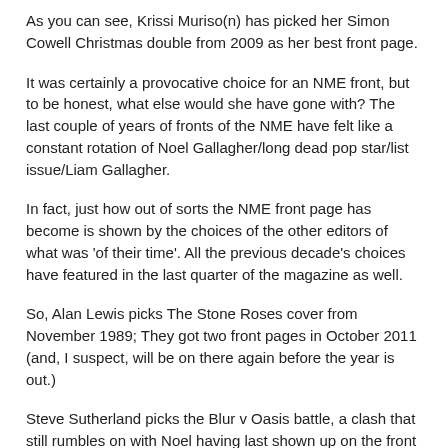As you can see, Krissi Muriso(n) has picked her Simon Cowell Christmas double from 2009 as her best front page.
It was certainly a provocative choice for an NME front, but to be honest, what else would she have gone with? The last couple of years of fronts of the NME have felt like a constant rotation of Noel Gallagher/long dead pop star/list issue/Liam Gallagher.
In fact, just how out of sorts the NME front page has become is shown by the choices of the other editors of what was 'of their time'. All the previous decade's choices have featured in the last quarter of the magazine as well.
So, Alan Lewis picks The Stone Roses cover from November 1989; They got two front pages in October 2011 (and, I suspect, will be on there again before the year is out.)
Steve Sutherland picks the Blur v Oasis battle, a clash that still rumbles on with Noel having last shown up on the front page last week and Blur, erm, this.